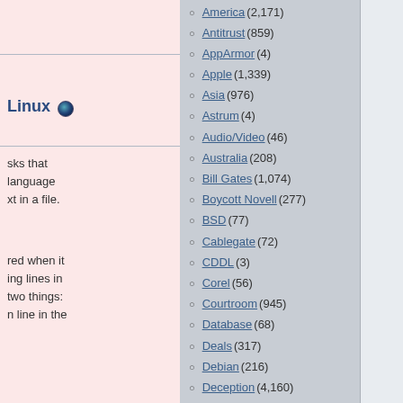Linux
sks that language xt in a file.
red when it ing lines in two things: n line in the
Manager –
w to install anently nager from
America (2,171)
Antitrust (859)
AppArmor (4)
Apple (1,339)
Asia (976)
Astrum (4)
Audio/Video (46)
Australia (208)
Bill Gates (1,074)
Boycott Novell (277)
BSD (77)
Cablegate (72)
CDDL (3)
Corel (56)
Courtroom (945)
Database (68)
Deals (317)
Debian (216)
Deception (4,160)
Dell (136)
DRM (253)
ECMA (207)
EFF (100)
Europe (7,138)
Finance (1,231)
Flying Chairlet (6)